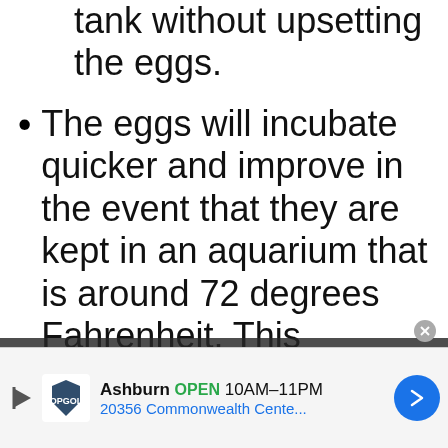tank without upsetting the eggs.
The eggs will incubate quicker and improve in the event that they are kept in an aquarium that is around 72 degrees Fahrenheit. This temperature is higher than what the grown-ups like, another motivation to keep the eggs separate from the grown-ups.
Be aware of the way that the
[Figure (screenshot): Advertisement overlay for Topgolf in Ashburn showing OPEN status, hours 10AM-11PM, address 20356 Commonwealth Cente..., with navigation button and close button]